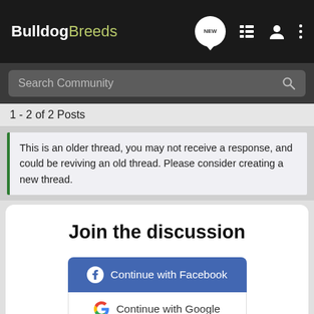BulldogBreeds — navigation bar with logo, NEW button, list icon, user icon, menu icon
Search Community
1 - 2 of 2 Posts
This is an older thread, you may not receive a response, and could be reviving an old thread. Please consider creating a new thread.
Join the discussion
Continue with Facebook
Continue with Google
or sign up with email